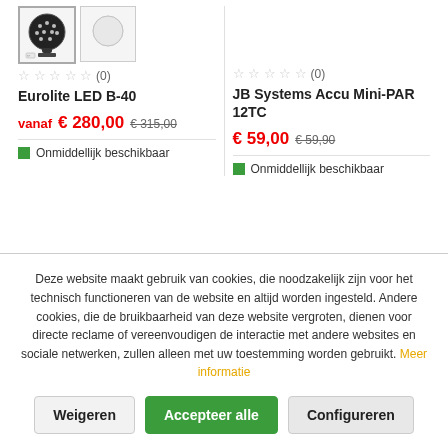[Figure (photo): Product image of Eurolite LED B-40 ball light, shown as dark sphere on base, with a secondary smaller white sphere thumbnail]
☆ ☆ ☆ ☆ ☆ (0)
Eurolite LED B-40
vanaf € 280,00  € 315,00
Onmiddellijk beschikbaar
☆ ☆ ☆ ☆ ☆ (0)
JB Systems Accu Mini-PAR 12TC
€ 59,00  € 59,90
Onmiddellijk beschikbaar
Deze website maakt gebruik van cookies, die noodzakelijk zijn voor het technisch functioneren van de website en altijd worden ingesteld. Andere cookies, die de bruikbaarheid van deze website vergroten, dienen voor directe reclame of vereenvoudigen de interactie met andere websites en sociale netwerken, zullen alleen met uw toestemming worden gebruikt. Meer informatie
Weigeren
Accepteer alle
Configureren